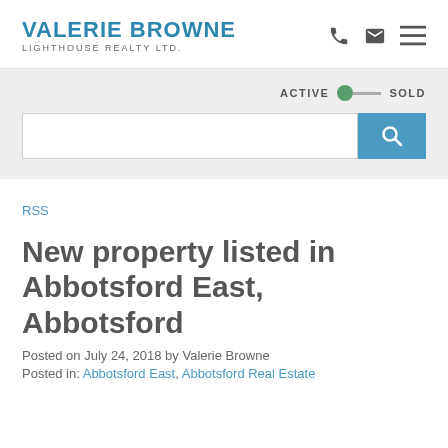VALERIE BROWNE LIGHTHOUSE REALTY LTD.
[Figure (other): Search bar with Active/Sold toggle and search button]
RSS
New property listed in Abbotsford East, Abbotsford
Posted on July 24, 2018 by Valerie Browne
Posted in: Abbotsford East, Abbotsford Real Estate